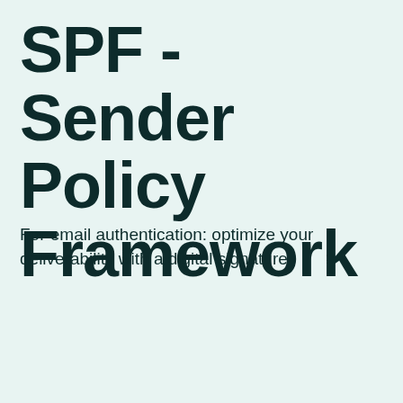SPF - Sender Policy Framework
For email authentication: optimize your deliverability with a digital signature
[Figure (screenshot): Screenshot of CleverReach interface showing the Domains section with navigation tabs (Übersicht, Benutzer, Einstellungen, Tarife & Abrechnung, Extras, Partnerprogramm), a Domains table with columns (Domain, Status, Aktion), and two rows: https://www.cleverreach.com (Mustermann status) and https://harry.cleverreach.com with dash action buttons.]